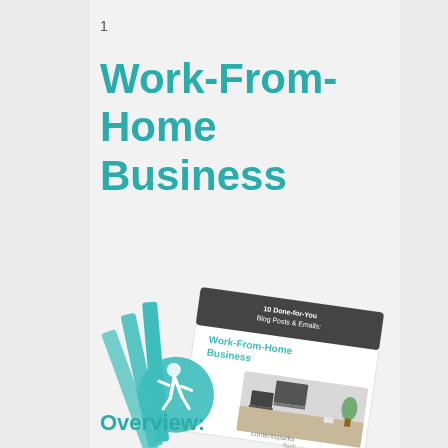1
Work-From-Home Business
[Figure (illustration): Stack of printed booklet/content packs titled '10 Done-for-You Blog Posts & Emails: Work-From-Home Business' with a ContentSparks Flash logo, showing a home office desk scene with laptop, monitor, and plant, with teal-colored booklet spines fanned out.]
Overview: